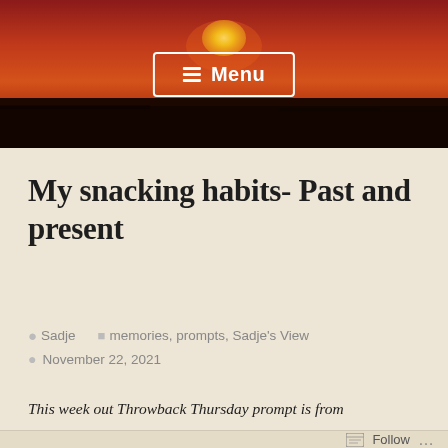[Figure (photo): Header photograph of a sunset over a flat dark landscape with deep red and orange sky gradient, sun visible near horizon]
≡ Menu
My snacking habits- Past and present
Sadje   memories, prompts, Sadje's View   November 22, 2021
This week out Throwback Thursday prompt is from
Follow ...